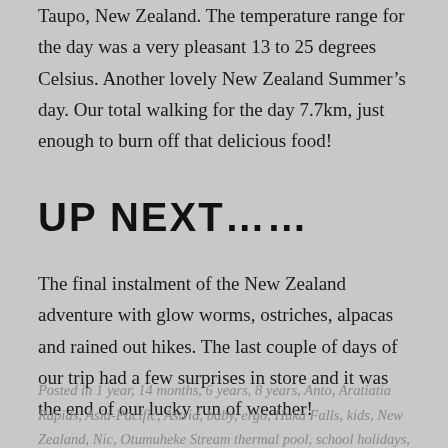Taupo, New Zealand. The temperature range for the day was a very pleasant 13 to 25 degrees Celsius. Another lovely New Zealand Summer's day. Our total walking for the day 7.7km, just enough to burn off that delicious food!
UP NEXT……
The final instalment of the New Zealand adventure with glow worms, ostriches, alpacas and rained out hikes. The last couple of days of our trip had a few surprises in store and it was the end of our lucky run of weather!
Posted in 1 year, 14 months, 6 years, 8 years, Anto, Aratiatia Rapids, Asia-Pacific, Astrid, baby, ergo, Huka Falls, kids, New Zealand, Nic, Otumuheke Stream thermal pool, school holidays,